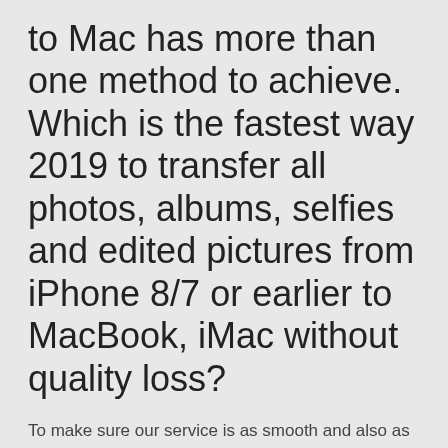to Mac has more than one method to achieve. Which is the fastest way 2019 to transfer all photos, albums, selfies and edited pictures from iPhone 8/7 or earlier to MacBook, iMac without quality loss?
To make sure our service is as smooth and also as secure as possible, we create a .zip files if you upload multiple files. It gives you Best 4 ways to teach you how fast transfer big files. Transfer big files like your photos, videos, documents with top 10 large file transfer sites. Fast transfer big files from iPhone to PC to free up space. WeTransfer has to be one of the easiest, least involved and complicated FREE services for transferring large files on the